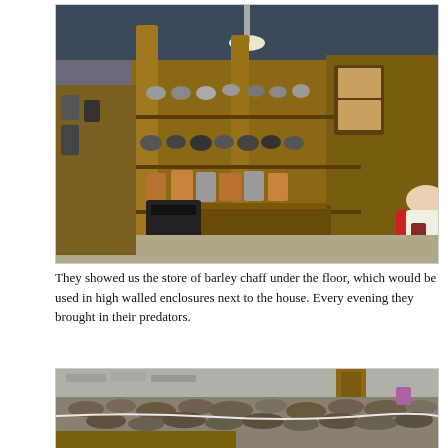[Figure (photo): Interior of a traditional shop or kitchen with wooden pillars, shelves lined with metal pots, containers and jars. A wood-burning stove in the foreground, and a person crouched in the background near a cabinet.]
They showed us the store of barley chaff under the floor, which would be used in high walled enclosures next to the house. Every evening they brought in their predators.
[Figure (photo): Outdoor scene showing a flat surface or roof covered with lumpy organic material, possibly dried dung or chaff, with a white cord or rope visible and a wooden beam in the foreground.]